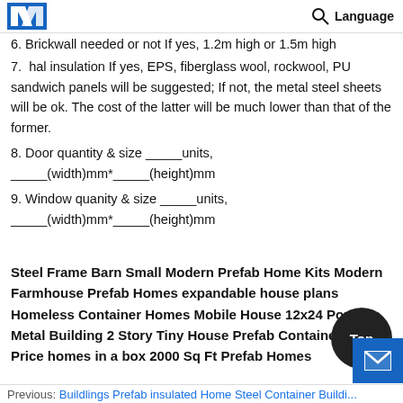Language
6. Brickwall needed or not If yes, 1.2m high or 1.5m high
7. Thermal insulation If yes, EPS, fiberglass wool, rockwool, PU sandwich panels will be suggested; If not, the metal steel sheets will be ok. The cost of the latter will be much lower than that of the former.
8. Door quantity & size _____units, _____(width)mm*_____(height)mm
9. Window quanity & size _____units, _____(width)mm*_____(height)mm
Steel Frame Barn Small Modern Prefab Home Kits Modern Farmhouse Prefab Homes expandable house plans Homeless Container Homes Mobile House 12x24 Portable Metal Building 2 Story Tiny House Prefab Container House Price homes in a box 2000 Sq Ft Prefab Homes
Previous: Buildings Prefab insulated Home Steel Container Buildings